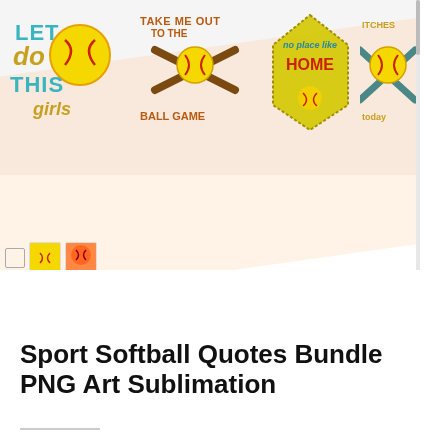[Figure (illustration): Product preview banner showing four softball-themed PNG art sublimation designs: 'Let's Do This Girls', 'Take Me Out To The Ball Game', 'No Place Like Home', and a partially visible fourth design with crossed bats and softball]
Sport Softball Quotes Bundle PNG Art Sublimation